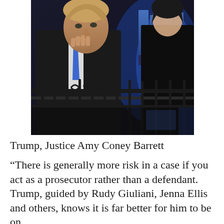[Figure (photo): Photo of Donald Trump on a balcony, gesturing with hand raised to chin, wearing a dark suit and blue tie, with a woman in a dark outfit standing to his right near blue flags in the background. Black ornate railing in foreground.]
Trump, Justice Amy Coney Barrett
“There is generally more risk in a case if you act as a prosecutor rather than a defendant. Trump, guided by Rudy Giuliani, Jenna Ellis and others, knows it is far better for him to be on